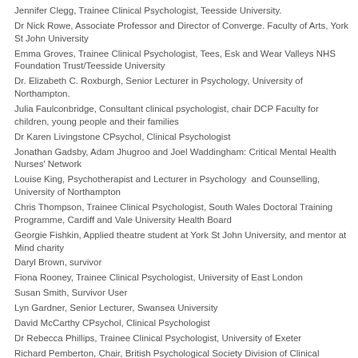Jennifer Clegg, Trainee Clinical Psychologist, Teesside University.
Dr Nick Rowe, Associate Professor and Director of Converge. Faculty of Arts, York St John University
Emma Groves, Trainee Clinical Psychologist, Tees, Esk and Wear Valleys NHS Foundation Trust/Teesside University
Dr. Elizabeth C. Roxburgh, Senior Lecturer in Psychology, University of Northampton.
Julia Faulconbridge, Consultant clinical psychologist, chair DCP Faculty for children, young people and their families
Dr Karen Livingstone CPsychol, Clinical Psychologist
Jonathan Gadsby, Adam Jhugroo and Joel Waddingham: Critical Mental Health Nurses' Network
Louise King, Psychotherapist and Lecturer in Psychology  and Counselling, University of Northampton
Chris Thompson, Trainee Clinical Psychologist, South Wales Doctoral Training Programme, Cardiff and Vale University Health Board
Georgie Fishkin, Applied theatre student at York St John University, and mentor at Mind charity
Daryl Brown, survivor
Fiona Rooney, Trainee Clinical Psychologist, University of East London
Susan Smith, Survivor User
Lyn Gardner, Senior Lecturer, Swansea University
David McCarthy CPsychol, Clinical Psychologist
Dr Rebecca Phillips, Trainee Clinical Psychologist, University of Exeter
Richard Pemberton, Chair, British Psychological Society Division of Clinical Psychology